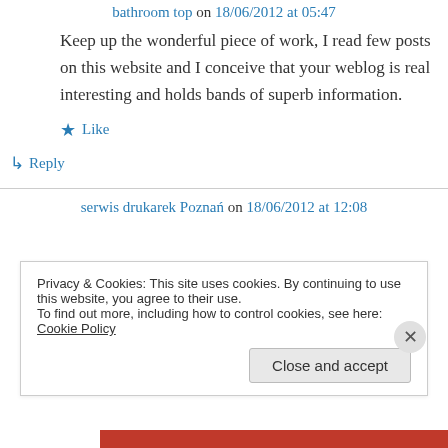bathroom top on 18/06/2012 at 05:47
Keep up the wonderful piece of work, I read few posts on this website and I conceive that your weblog is real interesting and holds bands of superb information.
Like
↳ Reply
serwis drukarek Poznań on 18/06/2012 at 12:08
Privacy & Cookies: This site uses cookies. By continuing to use this website, you agree to their use.
To find out more, including how to control cookies, see here: Cookie Policy
Close and accept